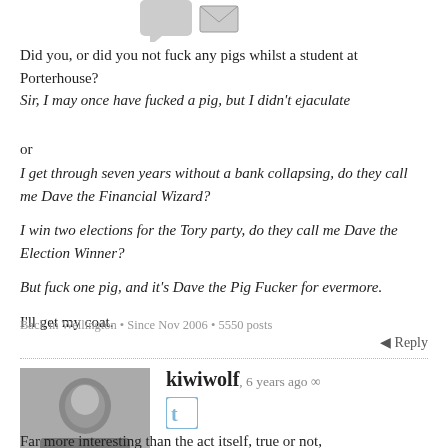[Figure (other): Top icons: speech bubble arrow and envelope icon]
Did you, or did you not fuck any pigs whilst a student at Porterhouse?
Sir, I may once have fucked a pig, but I didn't ejaculate
or
I get through seven years without a bank collapsing, do they call me Dave the Financial Wizard?
I win two elections for the Tory party, do they call me Dave the Election Winner?
But fuck one pig, and it's Dave the Pig Fucker for evermore.
I'll get my coat.
Back in Wellington • Since Nov 2006 • 5550 posts
↵ Reply
kiwiwolf, 6 years ago ∞
[Figure (photo): Black and white avatar photo of kiwiwolf]
Far more interesting than the act itself, true or not,